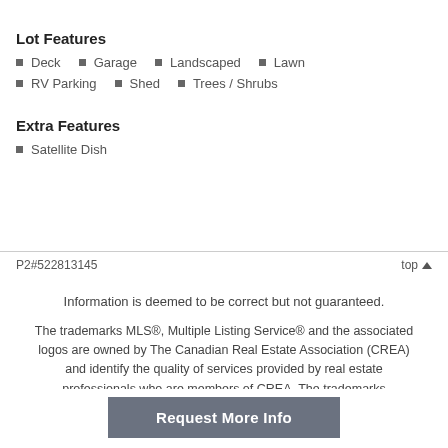Lot Features
Deck
Garage
Landscaped
Lawn
RV Parking
Shed
Trees / Shrubs
Extra Features
Satellite Dish
P2#522813145    top
Information is deemed to be correct but not guaranteed.
The trademarks MLS®, Multiple Listing Service® and the associated logos are owned by The Canadian Real Estate Association (CREA) and identify the quality of services provided by real estate professionals who are members of CREA. The trademarks REALTOR®, REALTORS®, and the REALTOR® logo